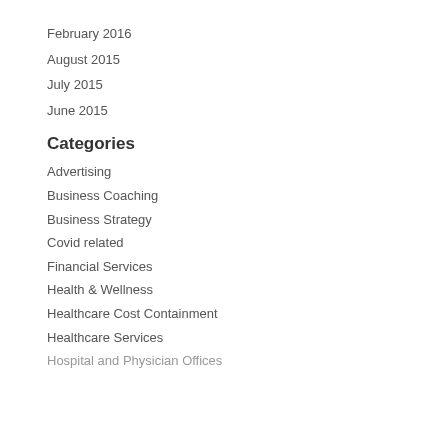February 2016
August 2015
July 2015
June 2015
Categories
Advertising
Business Coaching
Business Strategy
Covid related
Financial Services
Health & Wellness
Healthcare Cost Containment
Healthcare Services
Hospital and Physician Offices